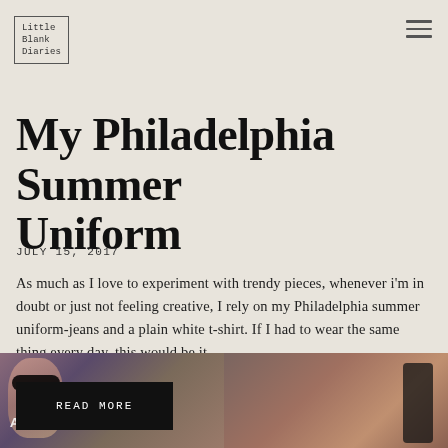Little Blank Diaries
My Philadelphia Summer Uniform
JULY 15, 2017
As much as I love to experiment with trendy pieces, whenever i'm in doubt or just not feeling creative, I rely on my Philadelphia summer uniform-jeans and a plain white t-shirt. If I had to wear the same thing every day, this would be it.
READ MORE
[Figure (photo): Street photography photos showing a person with sunglasses in front of graffiti wall reading 'AND I DRIFT AWAY', and another person in black against a brick building background.]